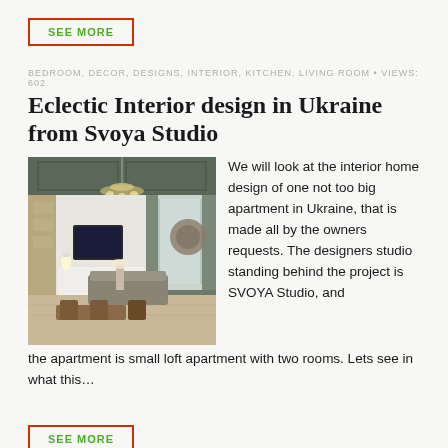SEE MORE
BEDROOM, DECOR, DESIGNS, INTERIOR, KITCHEN, LIVING ROOM • VIEWS: 602
Eclectic Interior design in Ukraine from Svoya Studio
[Figure (photo): Interior photo of a stylish loft apartment showing living and dining area with chandelier, TV unit, sofa and wooden dining table]
We will look at the interior home design of one not too big apartment in Ukraine, that is made all by the owners requests. The designers studio standing behind the project is SVOYA Studio, and the apartment is small loft apartment with two rooms. Lets see in what this…
SEE MORE